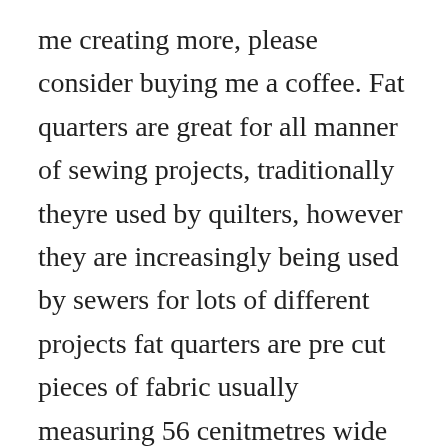me creating more, please consider buying me a coffee. Fat quarters are great for all manner of sewing projects, traditionally theyre used by quilters, however they are increasingly being used by sewers for lots of different projects fat quarters are pre cut pieces of fabric usually measuring 56 cenitmetres wide by 50 centimetres long, however they can sometimes be wider depending on the size the fabric was manufactured at. I knew instantly when i started flipping through palmsize softies. Dolls house quiet book pattern and tutorial by...